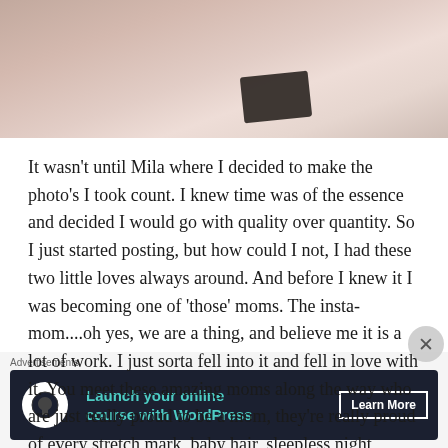[Figure (photo): Cropped photo showing hands/skin tones in soft light with a dark rectangular object, likely a phone or book]
It wasn't until Mila where I decided to make the photo's I took count. I knew time was of the essence and decided I would go with quality over quantity. So I just started posting, but how could I not, I had these two little loves always around. And before I knew it I was becoming one of 'those' moms. The insta-mom....oh yes, we are a thing, and believe me it is a lot of work. I just sorta fell into it and fell in love with it. You meet these amazing moms along the way who are just really proud to be a mom, they're really proud of every stretch mark, baby hair, sleepless night, scars, stitches, messy hair....you know #momlife. It was so empowering...and refreshing. Once you become a mom it seems like the world looks at you like a
Advertisements
[Figure (screenshot): Advertisement banner: Launch your online course with WordPress — Learn More]